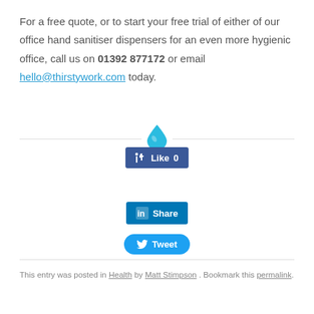For a free quote, or to start your free trial of either of our office hand sanitiser dispensers for an even more hygienic office, call us on 01392 877172 or email hello@thirstywork.com today.
[Figure (illustration): Horizontal divider with a blue water drop icon in the center]
[Figure (illustration): Facebook Like button showing count 0]
[Figure (illustration): LinkedIn Share button]
[Figure (illustration): Twitter Tweet button]
This entry was posted in Health by Matt Stimpson . Bookmark this permalink.